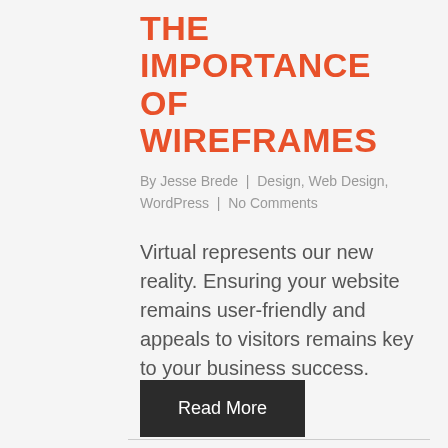THE IMPORTANCE OF WIREFRAMES
By Jesse Brede  |  Design, Web Design, WordPress  |  No Comments
Virtual represents our new reality. Ensuring your website remains user-friendly and appeals to visitors remains key to your business success.
Read More